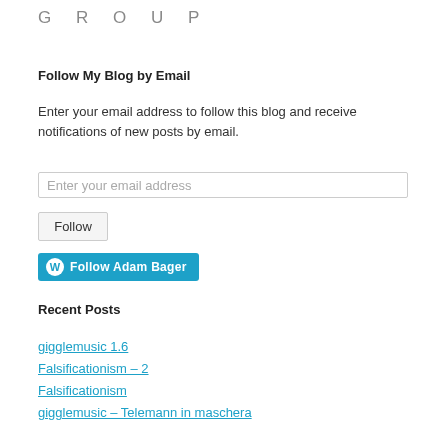GROUP
Follow My Blog by Email
Enter your email address to follow this blog and receive notifications of new posts by email.
Enter your email address
Follow
[Figure (other): Blue WordPress Follow button with WordPress logo icon and text 'Follow Adam Bager']
Recent Posts
gigglemusic 1.6
Falsificationism – 2
Falsificationism
gigglemusic – Telemann in maschera